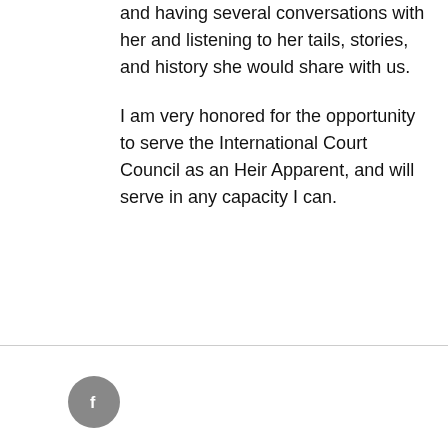and having several conversations with her and listening to her tails, stories, and history she would share with us.
I am very honored for the opportunity to serve the International Court Council as an Heir Apparent, and will serve in any capacity I can.
[Figure (logo): Facebook icon - grey circle with white lowercase letter f]